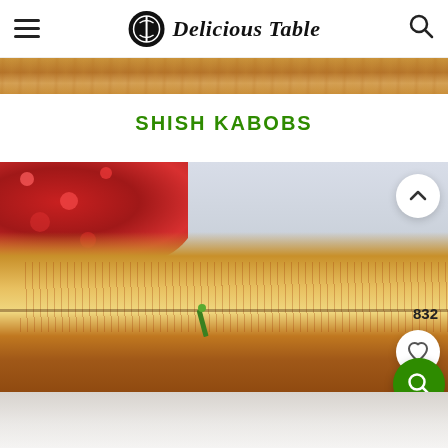Delicious Table
[Figure (photo): Wooden surface strip image at top of content area]
SHISH KABOBS
[Figure (photo): Close-up photo of grilled toast/bread with spices, red cloth in background, green skewer accent, with scroll-up button, like count 832, heart button, and green search FAB overlay]
[Figure (photo): Bottom partial strip of a second food photo showing pale/white food items]